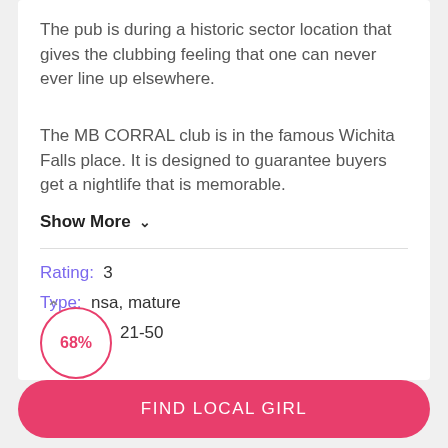The pub is during a historic sector location that gives the clubbing feeling that one can never ever line up elsewhere.
The MB CORRAL club is in the famous Wichita Falls place. It is designed to guarantee buyers get a nightlife that is memorable.
Show More ∨
Rating: 3
Type: nsa, mature
21-50
[Figure (infographic): A circular badge showing 68% in pink/red color with an up arrow above it]
FIND LOCAL GIRL